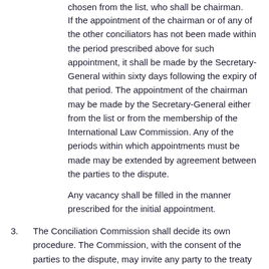chosen from the list, who shall be chairman.
If the appointment of the chairman or of any of the other conciliators has not been made within the period prescribed above for such appointment, it shall be made by the Secretary-General within sixty days following the expiry of that period. The appointment of the chairman may be made by the Secretary-General either from the list or from the membership of the International Law Commission. Any of the periods within which appointments must be made may be extended by agreement between the parties to the dispute.
Any vacancy shall be filled in the manner prescribed for the initial appointment.
3. The Conciliation Commission shall decide its own procedure. The Commission, with the consent of the parties to the dispute, may invite any party to the treaty to submit to it its views orally or in